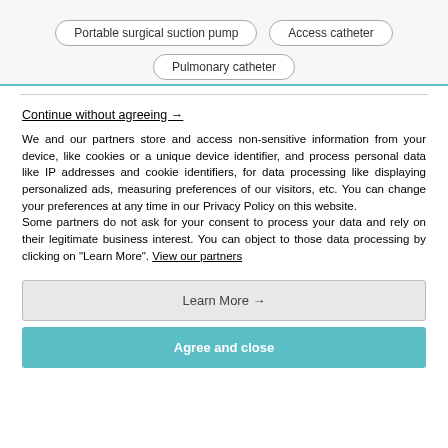Portable surgical suction pump
Access catheter
Pulmonary catheter
Continue without agreeing →
We and our partners store and access non-sensitive information from your device, like cookies or a unique device identifier, and process personal data like IP addresses and cookie identifiers, for data processing like displaying personalized ads, measuring preferences of our visitors, etc. You can change your preferences at any time in our Privacy Policy on this website. Some partners do not ask for your consent to process your data and rely on their legitimate business interest. You can object to those data processing by clicking on "Learn More". View our partners
Learn More →
Agree and close